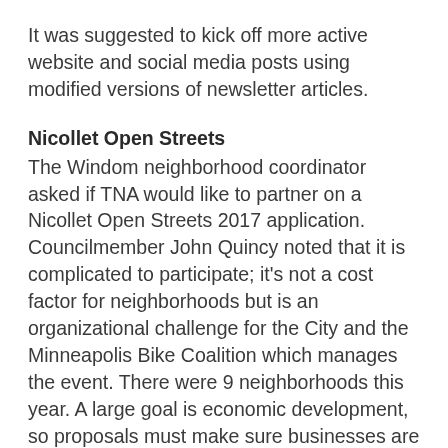It was suggested to kick off more active website and social media posts using modified versions of newsletter articles.
Nicollet Open Streets
The Windom neighborhood coordinator asked if TNA would like to partner on a Nicollet Open Streets 2017 application. Councilmember John Quincy noted that it is complicated to participate; it's not a cost factor for neighborhoods but is an organizational challenge for the City and the Minneapolis Bike Coalition which manages the event. There were 9 neighborhoods this year. A large goal is economic development, so proposals must make sure businesses are involved. The event hasn't historically worked well in South Minneapolis as there's not as much commercial